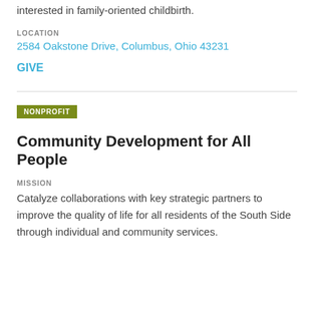interested in family-oriented childbirth.
LOCATION
2584 Oakstone Drive, Columbus, Ohio 43231
GIVE
NONPROFIT
Community Development for All People
MISSION
Catalyze collaborations with key strategic partners to improve the quality of life for all residents of the South Side through individual and community services.